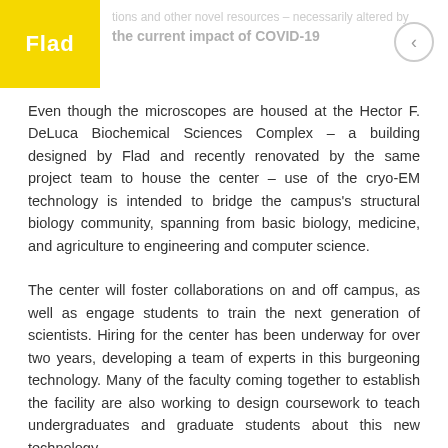...tions and other novel resources – necessarily altered by the current impact of COVID-19
Even though the microscopes are housed at the Hector F. DeLuca Biochemical Sciences Complex – a building designed by Flad and recently renovated by the same project team to house the center – use of the cryo-EM technology is intended to bridge the campus's structural biology community, spanning from basic biology, medicine, and agriculture to engineering and computer science.
The center will foster collaborations on and off campus, as well as engage students to train the next generation of scientists. Hiring for the center has been underway for over two years, developing a team of experts in this burgeoning technology. Many of the faculty coming together to establish the facility are also working to design coursework to teach undergraduates and graduate students about this new technology.